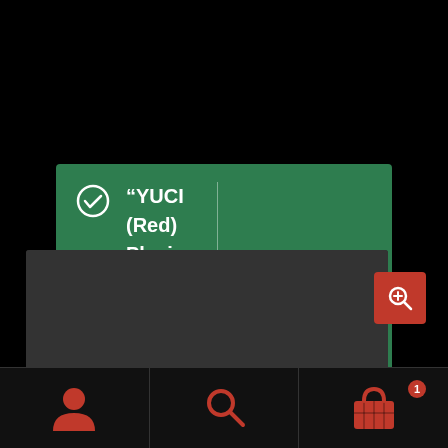[Figure (screenshot): Green notification bar showing a checkmark icon and the message: "YUCI (Red) Playing Cards by TCC" has been added to your basket. With a 'View basket →' button on the right.]
[Figure (screenshot): Dark video player showing 0:00 timestamp with playback controls (play, volume, fullscreen, menu) and a progress bar.]
[Figure (screenshot): Bottom navigation bar with user/account icon, search icon, and shopping basket icon with badge showing 1 item. Also a red search zoom button in the upper right area.]